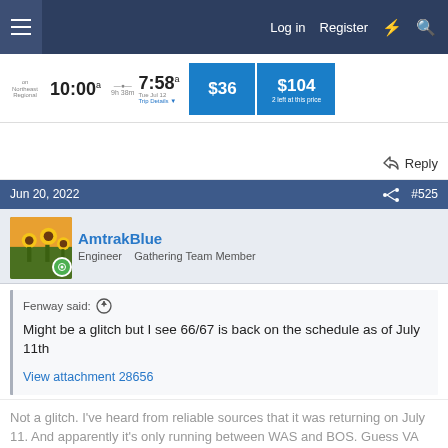Log in  Register
[Figure (screenshot): Amtrak ticket booking screenshot showing departure time 10:00, arrival 7:58, $36 and $104 prices]
Reply
Jun 20, 2022   #525
AmtrakBlue
Engineer   Gathering Team Member
Fenway said:
Might be a glitch but I see 66/67 is back on the schedule as of July 11th
View attachment 28656
Not a glitch. I've heard from reliable sources that it was returning on July 11. And apparently it's only running between WAS and BOS. Guess VA isn't ready for it